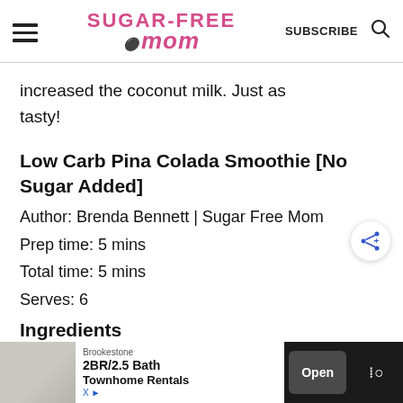Sugar-Free Mom — SUBSCRIBE
increased the coconut milk. Just as tasty!
Low Carb Pina Colada Smoothie [No Sugar Added]
Author: Brenda Bennett | Sugar Free Mom
Prep time: 5 mins
Total time: 5 mins
Serves: 6
Ingredients